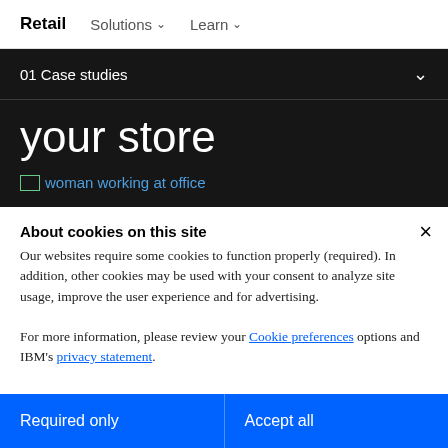Retail  Solutions ∨  Learn ∨
01 Case studies
your store
[Figure (photo): Broken image placeholder with alt text: woman working at office]
About cookies on this site
Our websites require some cookies to function properly (required). In addition, other cookies may be used with your consent to analyze site usage, improve the user experience and for advertising.

For more information, please review your Cookie preferences options and IBM's privacy statement.
Required only
Accept all